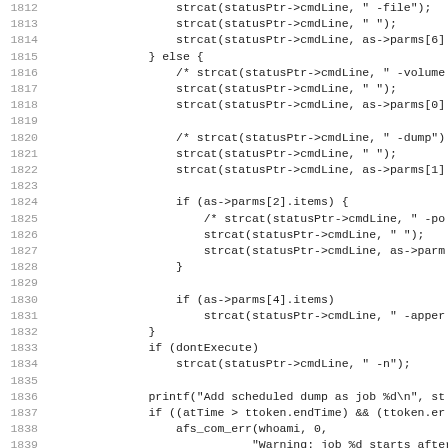[Figure (other): Source code listing, lines 1812-1843, showing C code with strcat, printf, if statements, and function calls related to scheduled dump job handling.]